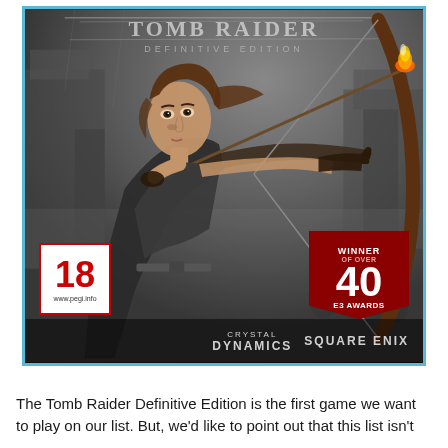[Figure (photo): Tomb Raider Definitive Edition game cover featuring Lara Croft drawing a bow with a flaming arrow, set against ruined stone structures. PEGI 18 rating badge in lower left, Winner of over 40 E3 Awards shield badge in lower right. Crystal Dynamics and Square Enix logos at bottom. Blue border frame around the cover.]
The Tomb Raider Definitive Edition is the first game we want to play on our list. But, we'd like to point out that this list isn't